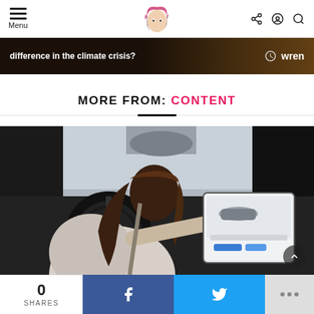Menu | [logo] | [share icon] [user icon] [search icon]
[Figure (screenshot): Advertisement banner with dark background, text 'difference in the climate crisis?' in white bold, and 'wren' branding with bird logo on right]
MORE FROM: CONTENT
[Figure (photo): Woman sitting in driver seat of Tesla electric car, viewed from behind, touching the large center touchscreen console showing a car configuration interface]
0 SHARES | Facebook share | Twitter share | ...